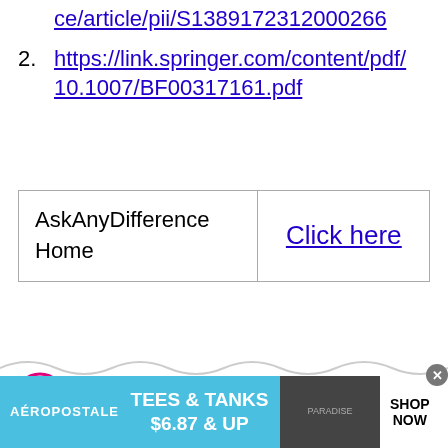ce/article/pii/S1389172312000266
2. https://link.springer.com/content/pdf/10.1007/BF00317161.pdf
| AskAnyDifference
Home | Click here |
for "Ask Any Difference" on Google. Rate this post!
[Figure (other): Advertisement banner: Aeropostale - Tees & Tanks $6.87 & Up - Shop Now]